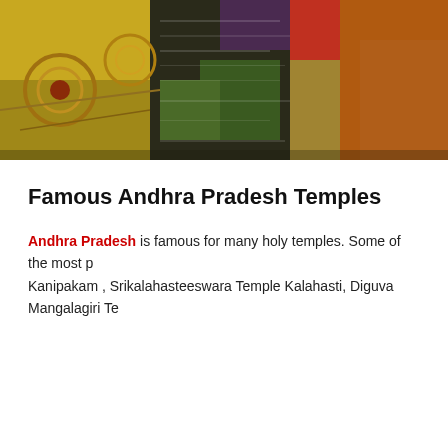[Figure (photo): Colorful decorative textile or embroidery with gold, yellow, red, green, and brown patterns, possibly traditional Indian fabric or spices overhead view]
Famous Andhra Pradesh Temples
Andhra Pradesh is famous for many holy temples. Some of the most p Kanipakam , Srikalahasteeswara Temple Kalahasti, Diguva Mangalagiri Te